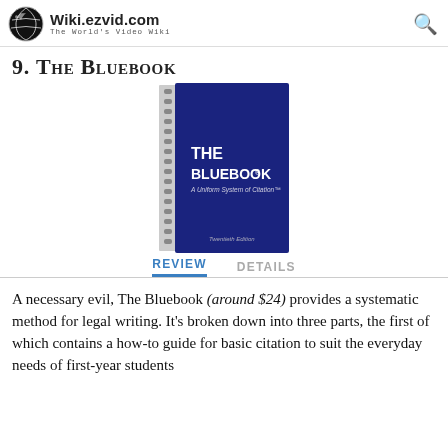Wiki.ezvid.com – The World's Video Wiki
9. The Bluebook
[Figure (photo): Photo of The Bluebook: A Uniform System of Citation, Twentieth Edition – a blue spiral-bound book]
REVIEW    DETAILS
A necessary evil, The Bluebook (around $24) provides a systematic method for legal writing. It's broken down into three parts, the first of which contains a how-to guide for basic citation to suit the everyday needs of first-year students and practitioners.